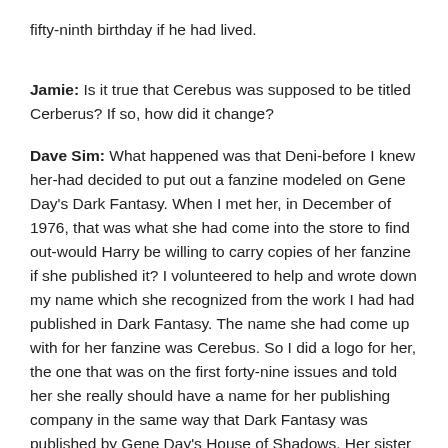fifty-ninth birthday if he had lived.
Jamie: Is it true that Cerebus was supposed to be titled Cerberus? If so, how did it change?
Dave Sim: What happened was that Deni-before I knew her-had decided to put out a fanzine modeled on Gene Day's Dark Fantasy. When I met her, in December of 1976, that was what she had come into the store to find out-would Harry be willing to carry copies of her fanzine if she published it? I volunteered to help and wrote down my name which she recognized from the work I had had published in Dark Fantasy. The name she had come up with for her fanzine was Cerebus. So I did a logo for her, the one that was on the first forty-nine issues and told her she really should have a name for her publishing company in the same way that Dark Fantasy was published by Gene Day's House of Shadows. Her sister came up with Aardvark Press